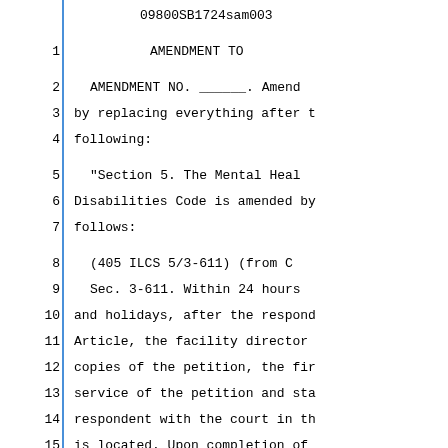09800SB1724sam003
1                                    AMENDMENT TO
2        AMENDMENT NO. ______. Amend
3   by replacing everything after t
4   following:
5        "Section 5. The Mental Heal
6   Disabilities Code is amended by
7   follows:
8        (405 ILCS 5/3-611)  (from C
9        Sec. 3-611. Within 24 hours
10  and holidays, after the respond
11  Article, the facility director
12  copies of the petition, the fir
13  service of the petition and sta
14  respondent with the court in th
15  is located. Upon completion of
16  facility director shall prompt